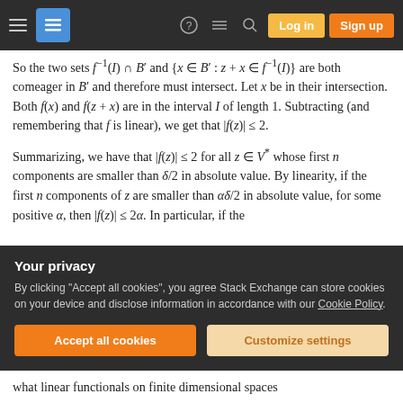Stack Exchange navigation bar with Log in and Sign up buttons
So the two sets f⁻¹(I) ∩ B' and {x ∈ B' : z + x ∈ f⁻¹(I)} are both comeager in B' and therefore must intersect. Let x be in their intersection. Both f(x) and f(z + x) are in the interval I of length 1. Subtracting (and remembering that f is linear), we get that |f(z)| ≤ 2.
Summarizing, we have that |f(z)| ≤ 2 for all z ∈ V* whose first n components are smaller than δ/2 in absolute value. By linearity, if the first n components of z are smaller than αδ/2 in absolute value, for some positive α, then |f(z)| ≤ 2α. In particular, if the
Your privacy
By clicking "Accept all cookies", you agree Stack Exchange can store cookies on your device and disclose information in accordance with our Cookie Policy.
what linear functionals on finite dimensional spaces